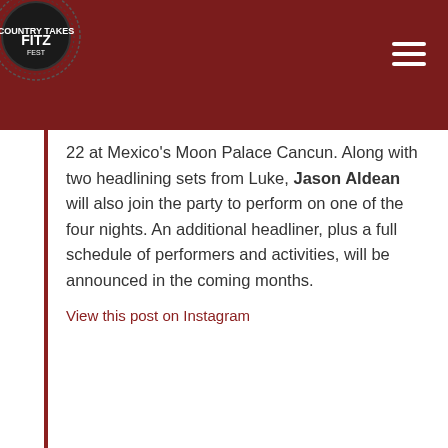[Figure (logo): FITZ logo — circular badge with FITZ text in center on dark background, surrounded by concentric ring design, set against dark red header bar with hamburger menu icon top right]
22 at Mexico's Moon Palace Cancun. Along with two headlining sets from Luke, Jason Aldean will also join the party to perform on one of the four nights. An additional headliner, plus a full schedule of performers and activities, will be announced in the coming months.
View this post on Instagram